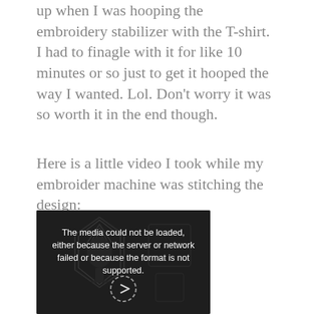up when I was hooping the embroidery stabilizer with the T-shirt. I had to finagle with it for like 10 minutes or so just to get it hooped the way I wanted. Lol. Don't worry it was so worth it in the end though.
Here is a little video I took while my embroider machine was stitching the design:
[Figure (screenshot): Dark video player showing an embroidery design being stitched on a T-shirt. An error overlay reads: 'The media could not be loaded, either because the server or network failed or because the format is not supported.' A circular replay/play icon is visible at the bottom center.]